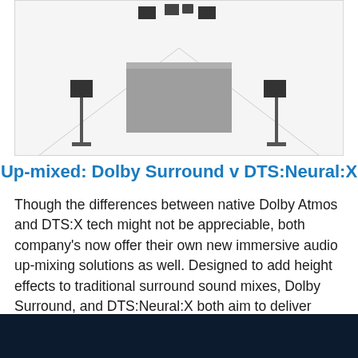[Figure (illustration): Line drawing of a surround sound speaker setup viewed from behind a stage/screen: a rectangular stage/screen in the center, two tall floor-standing speakers on left and right sides, and several ceiling/top speakers visible at the top of the image. The room has perspective lines suggesting a rectangular space.]
Up-mixed: Dolby Surround v DTS:Neural:X
Though the differences between native Dolby Atmos and DTS:X tech might not be appreciable, both company's now offer their own new immersive audio up-mixing solutions as well. Designed to add height effects to traditional surround sound mixes, Dolby Surround, and DTS:Neural:X both aim to deliver similar experiences -- but is there a clear winner between the two?
[Figure (photo): Dark navy/dark blue band at the bottom of the page, partially visible.]